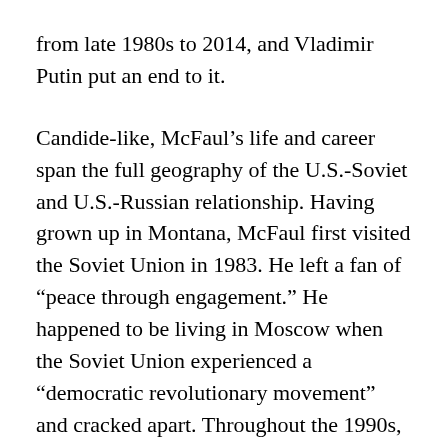from late 1980s to 2014, and Vladimir Putin put an end to it.
Candide-like, McFaul’s life and career span the full geography of the U.S.-Soviet and U.S.-Russian relationship. Having grown up in Montana, McFaul first visited the Soviet Union in 1983. He left a fan of “peace through engagement.” He happened to be living in Moscow when the Soviet Union experienced a “democratic revolutionary movement” and cracked apart. Throughout the 1990s, McFaul was working to establish democratic institutions in Russia and to translate what